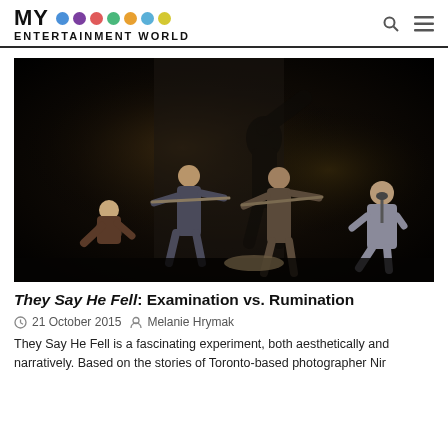MY ENTERTAINMENT WORLD
[Figure (photo): Theater performance photo showing performers on a dark stage with dramatic lighting; some playing instruments, large shadow projected on backdrop, performers in dramatic poses]
They Say He Fell: Examination vs. Rumination
21 October 2015  Melanie Hrymak
They Say He Fell is a fascinating experiment, both aesthetically and narratively. Based on the stories of Toronto-based photographer Nir...